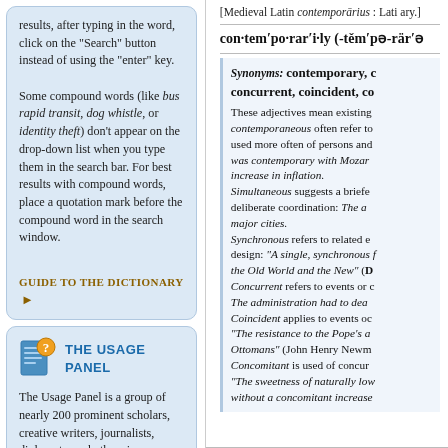results, after typing in the word, click on the "Search" button instead of using the "enter" key.
Some compound words (like bus rapid transit, dog whistle, or identity theft) don't appear on the drop-down list when you type them in the search bar. For best results with compound words, place a quotation mark before the compound word in the search window.
GUIDE TO THE DICTIONARY ▶
[Figure (illustration): Icon of a document page with a question mark, representing the Usage Panel section]
THE USAGE PANEL
The Usage Panel is a group of nearly 200 prominent scholars, creative writers, journalists, diplomats, and others in occupations requiring mastery of language. Annual surveys have gauged the acceptability of particular usages and
[Medieval Latin contemporārius : Lati ary.]
con·tem′po·rar′i·ly (-těm′pə-rär′ə
Synonyms: contemporary, concurrent, coincident, co
These adjectives mean existing contemporaneous often refer to used more often of persons and was contemporary with Mozart increase in inflation. Simultaneous suggests a briefer deliberate coordination: The a major cities. Synchronous refers to related e design: "A single, synchronous f the Old World and the New" (D Concurrent refers to events or c The administration had to dea Coincident applies to events oc "The resistance to the Pope's a Ottomans" (John Henry Newm Concomitant is used of concur "The sweetness of naturally low without a concomitant increase